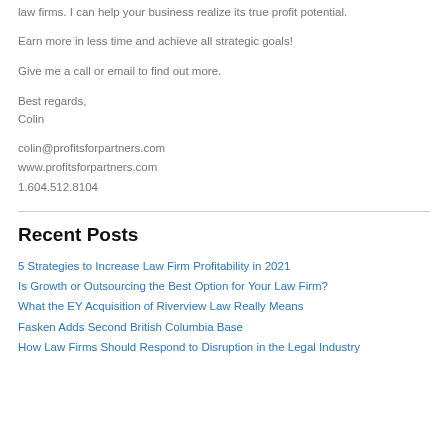law firms. I can help your business realize its true profit potential.
Earn more in less time and achieve all strategic goals!
Give me a call or email to find out more.
Best regards,
Colin
colin@profitsforpartners.com
www.profitsforpartners.com
1.604.512.8104
Recent Posts
5 Strategies to Increase Law Firm Profitability in 2021
Is Growth or Outsourcing the Best Option for Your Law Firm?
What the EY Acquisition of Riverview Law Really Means
Fasken Adds Second British Columbia Base
How Law Firms Should Respond to Disruption in the Legal Industry